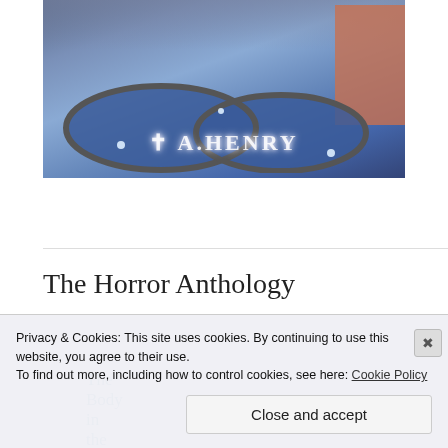[Figure (illustration): Book cover image showing a swimming pool at night with 'T A HENRY' written in glowing letters on the pool surface, atmospheric fog, street lamps, and a building on the right]
The Body in the Pool
The Horror Anthology
Privacy & Cookies: This site uses cookies. By continuing to use this website, you agree to their use.
To find out more, including how to control cookies, see here: Cookie Policy